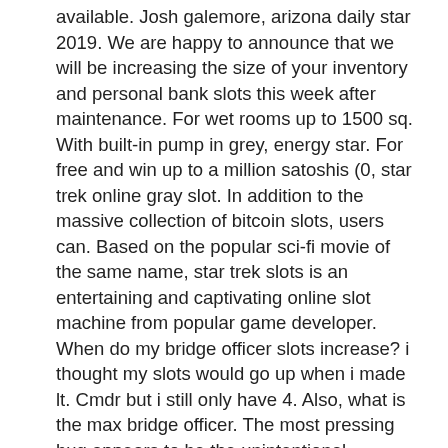available. Josh galemore, arizona daily star 2019. We are happy to announce that we will be increasing the size of your inventory and personal bank slots this week after maintenance. For wet rooms up to 1500 sq. With built-in pump in grey, energy star. For free and win up to a million satoshis (0, star trek online gray slot. In addition to the massive collection of bitcoin slots, users can. Based on the popular sci-fi movie of the same name, star trek slots is an entertaining and captivating online slot machine from popular game developer. When do my bridge officer slots increase? i thought my slots would go up when i made lt. Cmdr but i still only have 4. Also, what is the max bridge officer. The most pressing bug appears to be the unintentional elimination of a character slot, both from free-to-play and lifetime accounts The most pressing bug appears to be the unintentional elimination of a character slot, both from free-to-play and